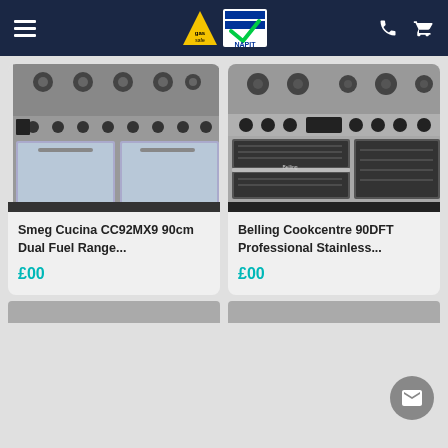Gas Safe / NAPIT certified appliance retailer website header
[Figure (photo): Smeg Cucina CC92MX9 range cooker product photo showing gas hob and two oven doors]
Smeg Cucina CC92MX9 90cm Dual Fuel Range...
£00
[Figure (photo): Belling Cookcentre 90DFT Professional Stainless range cooker product photo]
Belling Cookcentre 90DFT Professional Stainless...
£00